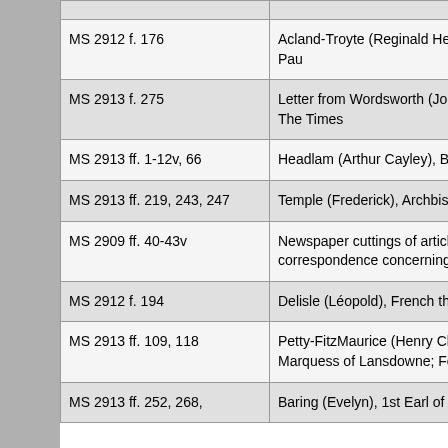| Reference | Description |
| --- | --- |
| MS 2912 f. 176 | Acland-Troyte (Reginald Hen... Pau |
| MS 2913 f. 275 | Letter from Wordsworth (Joh... to The Times |
| MS 2913 ff. 1-12v, 66 | Headlam (Arthur Cayley), Bis... |
| MS 2913 ff. 219, 243, 247 | Temple (Frederick), Archbish... |
| MS 2909 ff. 40-43v | Newspaper cuttings of article... correspondence concerning t... |
| MS 2912 f. 194 | Delisle (Léopold), French the... |
| MS 2913 ff. 109, 118 | Petty-FitzMaurice (Henry Cha... Marquess of Lansdowne; Fo... |
| MS 2913 ff. 252, 268, | Baring (Evelyn), 1st Earl of C... |